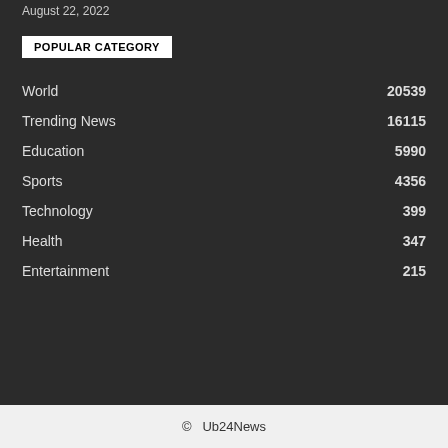August 22, 2022
POPULAR CATEGORY
World  20539
Trending News  16115
Education  5990
Sports  4356
Technology  399
Health  347
Entertainment  215
© Ub24News